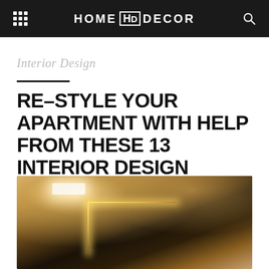HOME HD DECOR
Interior Design
RE-STYLE YOUR APARTMENT WITH HELP FROM THESE 13 INTERIOR DESIGN BOOKS
[Figure (photo): Interior room photo showing modern ceiling design with LED backlighting forming an L-shape, warm golden ambient lighting, dark architectural elements with glowing accent lights]